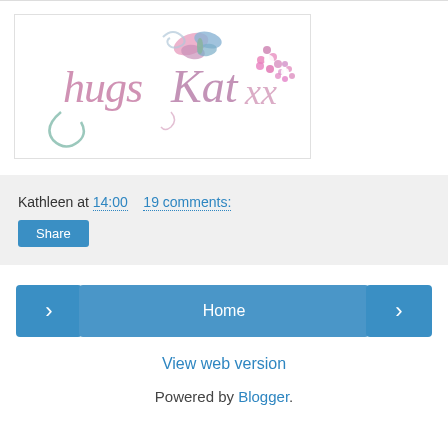[Figure (logo): Handwritten script logo reading 'hugs Kat xx' with decorative butterfly and flower elements in pink, purple, and teal colors]
Kathleen at 14:00   19 comments:
Share
<
Home
>
View web version
Powered by Blogger.